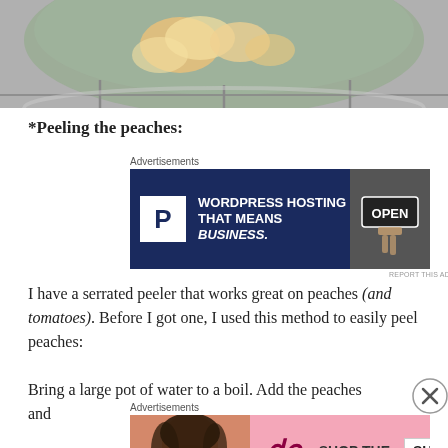[Figure (photo): Partial view of a bowl or pot with food (peaches and batter or similar) visible from above, on a wire rack, from a cooking/recipe article]
*Peeling the peaches:
[Figure (other): Advertisement banner: Pressable WordPress Hosting - 'WORDPRESS HOSTING THAT MEANS BUSINESS.' with an OPEN sign photo]
I have a serrated peeler that works great on peaches (and tomatoes). Before I got one, I used this method to easily peel peaches:
Bring a large pot of water to a boil. Add the peaches and
[Figure (other): Advertisement banner: Victoria's Secret - 'SHOP THE COLLECTION' with SHOP NOW button and model photo]